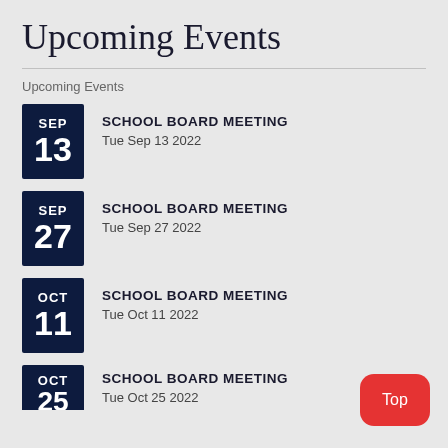Upcoming Events
Upcoming Events
SCHOOL BOARD MEETING
Tue Sep 13 2022
SCHOOL BOARD MEETING
Tue Sep 27 2022
SCHOOL BOARD MEETING
Tue Oct 11 2022
SCHOOL BOARD MEETING
Tue Oct 25 2022